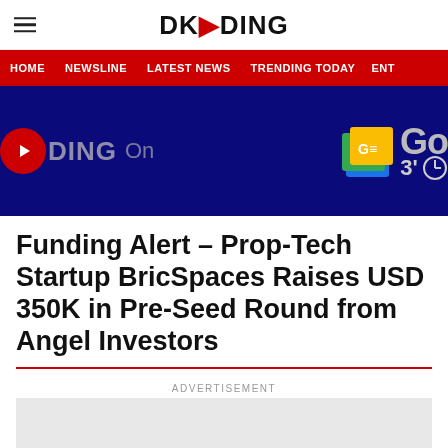DKODING
HOME   NEWSLINE   LATEST NEWS   TRENDING TODAY   ENT
[Figure (screenshot): Dark blue banner with DKODING On logo on left and Google News icons on right showing '3' countdown]
Funding Alert – Prop-Tech Startup BricSpaces Raises USD 350K in Pre-Seed Round from Angel Investors
ADVERTISEMENT